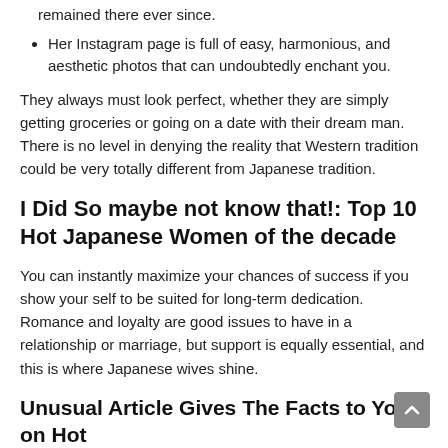remained there ever since.
Her Instagram page is full of easy, harmonious, and aesthetic photos that can undoubtedly enchant you.
They always must look perfect, whether they are simply getting groceries or going on a date with their dream man. There is no level in denying the reality that Western tradition could be very totally different from Japanese tradition.
I Did So maybe not know that!: Top 10 Hot Japanese Women of the decade
You can instantly maximize your chances of success if you show your self to be suited for long-term dedication. Romance and loyalty are good issues to have in a relationship or marriage, but support is equally essential, and this is where Japanese wives shine.
Unusual Article Gives The Facts to You on Hot